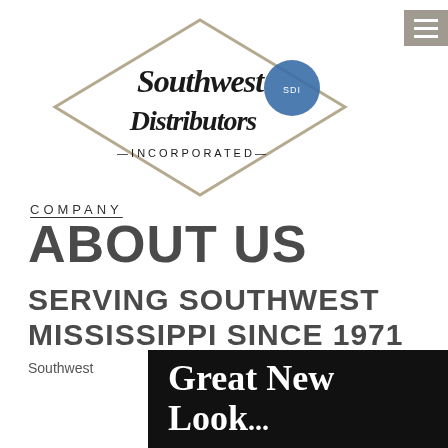[Figure (logo): Southwest Distributors Incorporated logo — diamond/rhombus shape outline in tan/beige, with script text 'Southwest Distributors' and '—INCORPORATED—' below, and a blue circular badge/seal on the right side]
COMPANY
ABOUT US
SERVING SOUTHWEST MISSISSIPPI SINCE 1971
Southwest
[Figure (photo): Black background image with large white serif text reading 'Great New Look...']